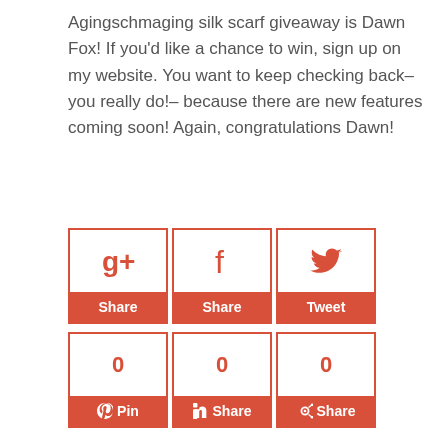Agingschmaging silk scarf giveaway is Dawn Fox! If you'd like a chance to win, sign up on my website. You want to keep checking back–you really do!– because there are new features coming soon! Again, congratulations Dawn!
[Figure (infographic): Social sharing buttons grid: top row has Google+, Facebook, and Twitter Share/Tweet buttons; bottom row has Pinterest Pin (0), LinkedIn Share (0), and StumbleUpon Share (0) buttons with count of 0 each. Buttons are red/coral colored.]